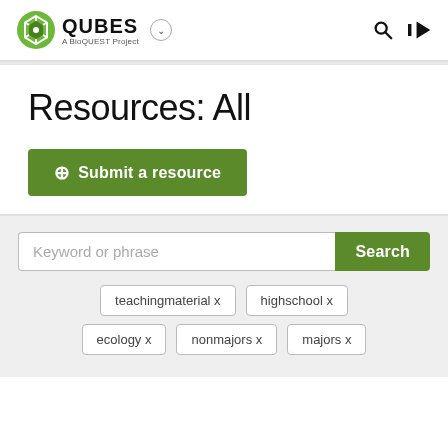[Figure (logo): QUBES - A BioQUEST Project logo with green hexagonal icon and navigation icons]
Resources: All
+ Submit a resource
Keyword or phrase [Search button]
teachingmaterial x
highschool x
ecology x
nonmajors x
majors x